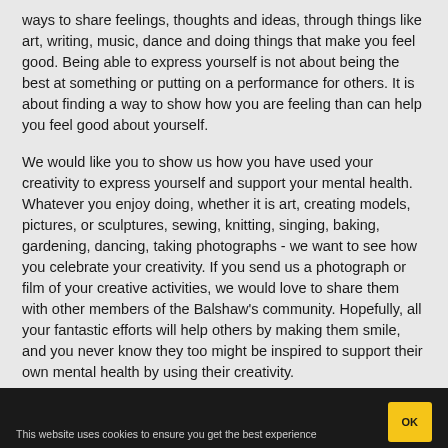ways to share feelings, thoughts and ideas, through things like art, writing, music, dance and doing things that make you feel good. Being able to express yourself is not about being the best at something or putting on a performance for others. It is about finding a way to show how you are feeling than can help you feel good about yourself.
We would like you to show us how you have used your creativity to express yourself and support your mental health. Whatever you enjoy doing, whether it is art, creating models, pictures, or sculptures, sewing, knitting, singing, baking, gardening, dancing, taking photographs - we want to see how you celebrate your creativity. If you send us a photograph or film of your creative activities, we would love to share them with other members of the Balshaw's community. Hopefully, all your fantastic efforts will help others by making them smile, and you never know they too might be inspired to support their own mental health by using their creativity.
When sending your examples please say if you would be happy for us to share them on our website.
This website uses cookies to ensure you get the best experience...